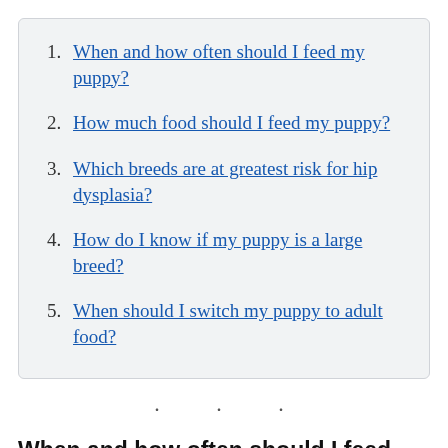1. When and how often should I feed my puppy?
2. How much food should I feed my puppy?
3. Which breeds are at greatest risk for hip dysplasia?
4. How do I know if my puppy is a large breed?
5. When should I switch my puppy to adult food?
· · ·
When and how often should I feed my puppy?
Once you've decided how much food your puppy needs each day,